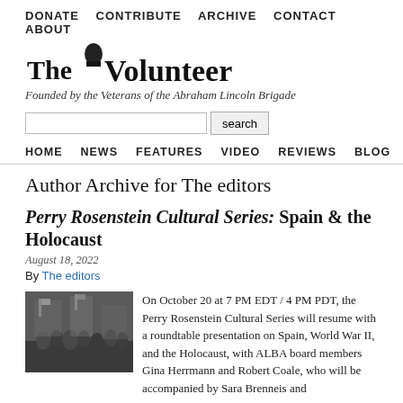DONATE   CONTRIBUTE   ARCHIVE   CONTACT   ABOUT
[Figure (logo): The Volunteer logo with illustrated figure]
Founded by the Veterans of the Abraham Lincoln Brigade
search (search box and button)
HOME   NEWS   FEATURES   VIDEO   REVIEWS   BLOG   AUTHORS
Author Archive for The editors
Perry Rosenstein Cultural Series: Spain & the Holocaust
August 18, 2022
By The editors
[Figure (photo): Black and white historical photograph of a crowd gathering]
On October 20 at 7 PM EDT / 4 PM PDT, the Perry Rosenstein Cultural Series will resume with a roundtable presentation on Spain, World War II, and the Holocaust, with ALBA board members Gina Herrmann and Robert Coale, who will be accompanied by Sara Brenneis and Joshua Goode. For updates, check the online...